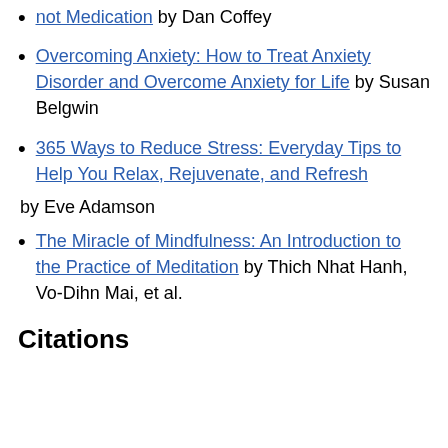not Medication by Dan Coffey
Overcoming Anxiety: How to Treat Anxiety Disorder and Overcome Anxiety for Life by Susan Belgwin
365 Ways to Reduce Stress: Everyday Tips to Help You Relax, Rejuvenate, and Refresh
by Eve Adamson
The Miracle of Mindfulness: An Introduction to the Practice of Meditation by Thich Nhat Hanh, Vo-Dihn Mai, et al.
Citations